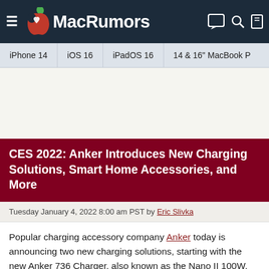MacRumors
iPhone 14 | iOS 16 | iPadOS 16 | 14 & 16" MacBook P
CES 2022: Anker Introduces New Charging Solutions, Smart Home Accessories, and More
Tuesday January 4, 2022 8:00 am PST by Eric Slivka
Popular charging accessory company Anker today is announcing two new charging solutions, starting with the new Anker 736 Charger, also known as the Nano II 100W. The Anker 736 features 100 watts of total charging power and is equipped with two USB-C ports and a USB-A port to allow for charging three devices simultaneously.